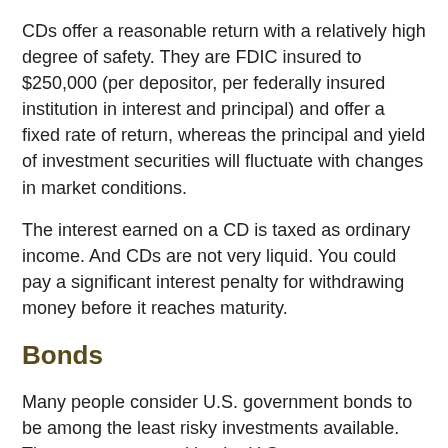CDs offer a reasonable return with a relatively high degree of safety. They are FDIC insured to $250,000 (per depositor, per federally insured institution in interest and principal) and offer a fixed rate of return, whereas the principal and yield of investment securities will fluctuate with changes in market conditions.
The interest earned on a CD is taxed as ordinary income. And CDs are not very liquid. You could pay a significant interest penalty for withdrawing money before it reaches maturity.
Bonds
Many people consider U.S. government bonds to be among the least risky investments available. They are guaranteed by the U.S. government as to the timely payment of principal and interest.
The interest on Series EE bonds is tax-free to low- and middle-income families if the proceeds are used to fund a college education. This benefit phases out for individuals and couples